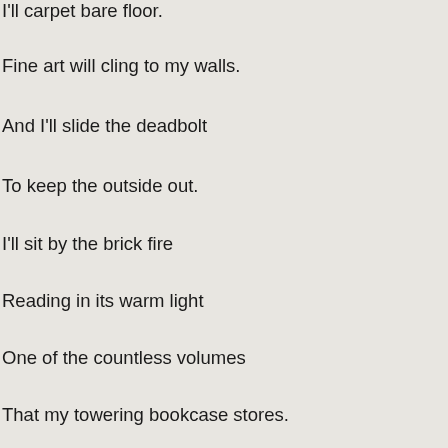I'll carpet bare floor.
Fine art will cling to my walls.
And I'll slide the deadbolt
To keep the outside out.
I'll sit by the brick fire
Reading in its warm light
One of the countless volumes
That my towering bookcase stores.
I'll be a family man.
I'll leave bright blue bulbs